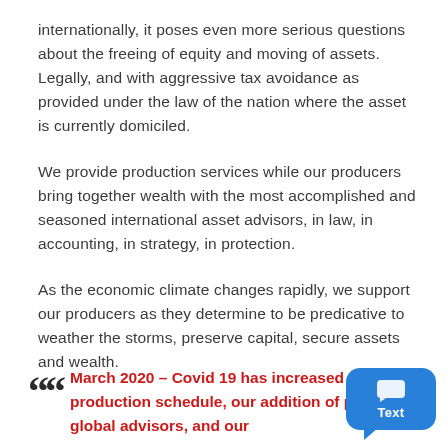internationally, it poses even more serious questions about the freeing of equity and moving of assets.  Legally, and with aggressive tax avoidance as provided under the law of the nation where the asset is currently domiciled.
We provide production services while our producers bring together wealth with the most accomplished and seasoned international asset advisors, in law, in accounting, in strategy, in protection.
As the economic climate changes rapidly, we support our producers as they determine to be predicative to weather the storms, preserve capital, secure assets and wealth.
March 2020 – Covid 19 has increased our production schedule, our addition of powerful global advisors, and our